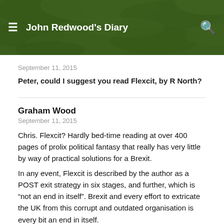John Redwood's Diary
September 11, 2015
Peter, could I suggest you read Flexcit, by R North?
Graham Wood
September 11, 2015
Chris. Flexcit? Hardly bed-time reading at over 400 pages of prolix political fantasy that really has very little by way of practical solutions for a Brexit.
In any event, Flexcit is described by the author as a POST exit strategy in six stages, and further, which is “not an end in itself”. Brexit and every effort to extricate the UK from this corrupt and outdated organisation is every bit an end in itself.